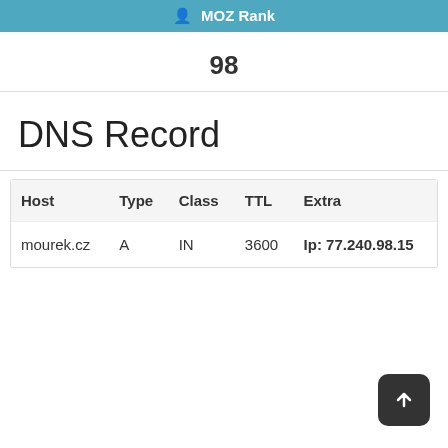MOZ Rank
98
DNS Record
| Host | Type | Class | TTL | Extra |
| --- | --- | --- | --- | --- |
| mourek.cz | A | IN | 3600 | Ip: 77.240.98.15 |